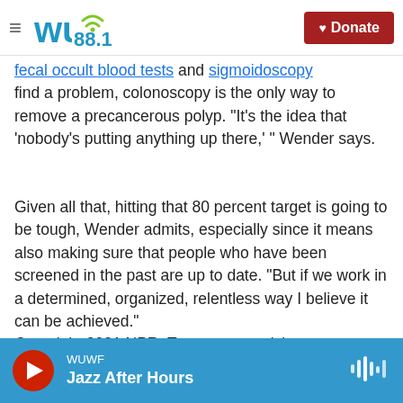WUWF 88.1 — Donate
fecal occult blood tests and sigmoidoscopy find a problem, colonoscopy is the only way to remove a precancerous polyp. "It's the idea that 'nobody's putting anything up there,'" Wender says.
Given all that, hitting that 80 percent target is going to be tough, Wender admits, especially since it means also making sure that people who have been screened in the past are up to date. "But if we work in a determined, organized, relentless way I believe it can be achieved."
Copyright 2021 NPR. To see more, visit https://www.npr.org
WUWF — Jazz After Hours